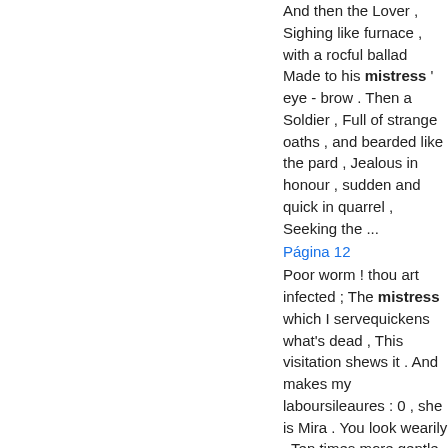And then the Lover , Sighing like furnace , with a rocful ballad Made to his mistress ' eye - brow . Then a Soldier , Full of strange oaths , and bearded like the pard , Jealous in honour , sudden and quick in quarrel , Seeking the ...
Página 12
Poor worm ! thou art infected ; The mistress which I servequickens what's dead , This visitation shews it . And makes my laboursileaures : 0 , she is Mira . You look wearily . Ten times more gentle , than her father's crabbed ; 40 Fer ...
Página 17
The ti...